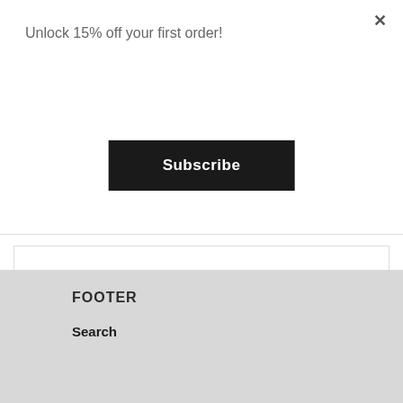Unlock 15% off your first order!
×
Subscribe
CUSTOMER REVIEWS
[Figure (other): Five empty star rating icons in a row]
Be the first to write a review
Write a review
FOOTER
Search